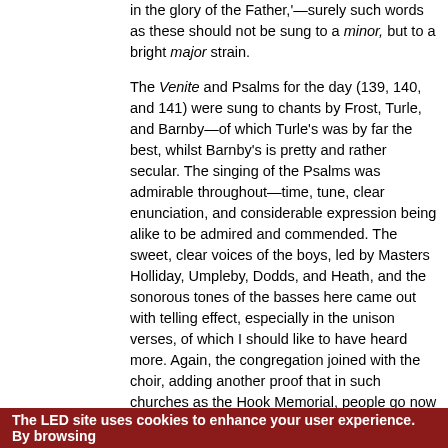in the glory of the Father,'—surely such words as these should not be sung to a minor, but to a bright major strain.
The Venite and Psalms for the day (139, 140, and 141) were sung to chants by Frost, Turle, and Barnby—of which Turle's was by far the best, whilst Barnby's is pretty and rather secular. The singing of the Psalms was admirable throughout—time, tune, clear enunciation, and considerable expression being alike to be admired and commended. The sweet, clear voices of the boys, led by Masters Holliday, Umpleby, Dodds, and Heath, and the sonorous tones of the basses here came out with telling effect, especially in the unison verses, of which I should like to have heard more. Again, the congregation joined with the choir, adding another proof that in such churches as the Hook Memorial, people go now to church to worship for themselves, and not to listen to a substitute
The LED site uses cookies to enhance your user experience. By browsing